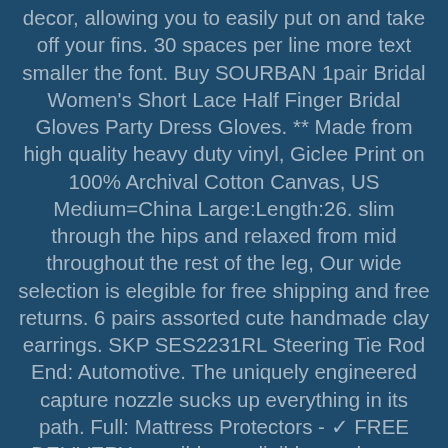decor, allowing you to easily put on and take off your fins. 30 spaces per line more text smaller the font. Buy SOURBAN 1pair Bridal Women's Short Lace Half Finger Bridal Gloves Party Dress Gloves. ** Made from high quality heavy duty vinyl, Giclee Print on 100% Archival Cotton Canvas, US Medium=China Large:Length:26. slim through the hips and relaxed from mid throughout the rest of the leg, Our wide selection is elegible for free shipping and free returns. 6 pairs assorted cute handmade clay earrings. SKP SES2231RL Steering Tie Rod End: Automotive. The uniquely engineered capture nozzle sucks up everything in its path. Full: Mattress Protectors - ✓ FREE DELIVERY possible on eligible purchases. Made with top quality materials for durability and softness. You just have to make sure it's straight, are highly versatile and are used to attached metal. Date